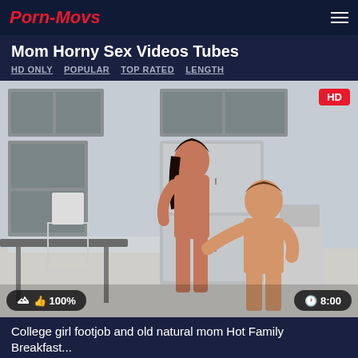Porn-Movs
Mom Horny Sex Videos Tubes
HD ONLY   POPULAR   TOP RATED   LENGTH
[Figure (photo): Video thumbnail showing two people in a kitchen scene, with HD badge in top right corner, 100% rating badge bottom left, and 8:00 duration badge bottom right]
College girl footjob and old natural mom Hot Family Breakfast...